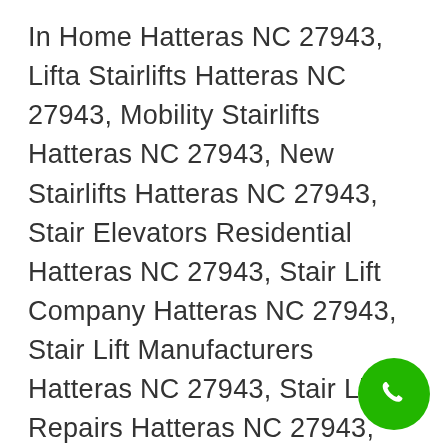In Home Hatteras NC 27943, Lifta Stairlifts Hatteras NC 27943, Mobility Stairlifts Hatteras NC 27943, New Stairlifts Hatteras NC 27943, Stair Elevators Residential Hatteras NC 27943, Stair Lift Company Hatteras NC 27943, Stair Lift Manufacturers Hatteras NC 27943, Stair Lift Repairs Hatteras NC 27943, Stair Lift Services Hatteras NC 27943, Stair Lift Stannah Hatteras NC 27943, Stairlift Companies Hatteras NC 27943, Stairlift Installation Hatteras NC 27943, Stairlift Maintenance Hatteras NC 27943, Stairlift Manufacturers Hatteras NC 27943, Stairlift Mobility Hatteras NC 27943, Stairlift Removal Hatteras NC 27943, Stairlift Repairs Hatteras NC 27943, Stairlift Servicing Hatteras NC 27943,
[Figure (illustration): Green circular phone call button in bottom right corner]